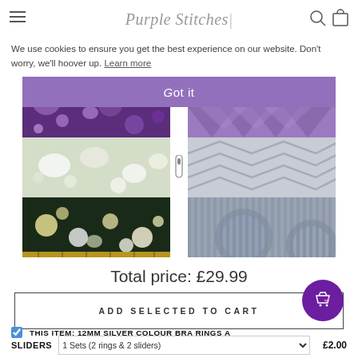Purple Stitches
We use cookies to ensure you get the best experience on our website. Don't worry, we'll hoover up. Learn more
[Figure (screenshot): Product image collage showing floral fabric swatches on left (purple floral, light floral, dark floral with yellow/white flowers) and geometric/striped patterns in grey on right. Got it cookie consent button overlaid in purple.]
Total price: £29.99
ADD SELECTED TO CART
THIS ITEM: 12MM SILVER COLOUR BRA RINGS A...
SLIDERS    1 Sets (2 rings & 2 sliders)    £2.00